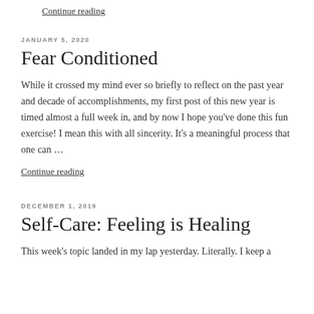Continue reading
JANUARY 5, 2020
Fear Conditioned
While it crossed my mind ever so briefly to reflect on the past year and decade of accomplishments, my first post of this new year is timed almost a full week in, and by now I hope you've done this fun exercise! I mean this with all sincerity. It's a meaningful process that one can …
Continue reading
DECEMBER 1, 2019
Self-Care: Feeling is Healing
This week's topic landed in my lap yesterday. Literally. I keep a